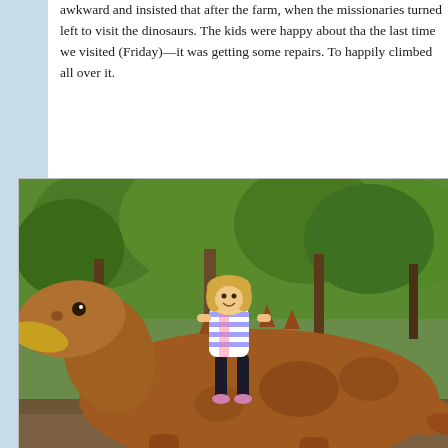awkward and insisted that after the farm, when the missionaries turned left to visit the dinosaurs. The kids were happy about that the last time we visited (Friday)—it was getting some repairs. To happily climbed all over it.
[Figure (photo): A young girl sitting on top of a large dinosaur sculpture/statue outdoors. The dinosaur is brown/reddish with a duck-bill head and scaly texture. The girl is wearing a striped shirt and dark pants and smiling. The background shows green trees and rocks.]